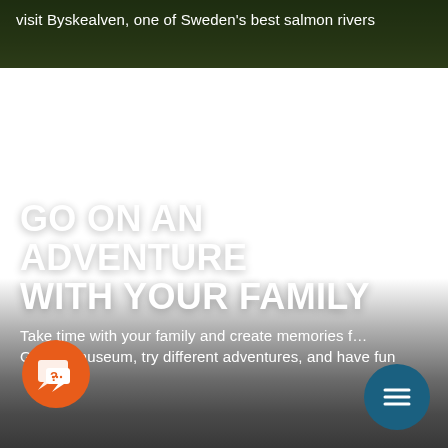visit Byskealven, one of Sweden's best salmon rivers
[Figure (photo): Dark green forest/nature background image at top of page, partially obscured with overlay]
GO ON AN ADVENTURE WITH YOUR FAMILY
Take time with your family and create memories f… Go to a museum, try different adventures, and have fun
[Figure (illustration): Orange circular chat/question mark icon in lower left]
[Figure (illustration): Dark teal circular menu (hamburger) icon in lower right]